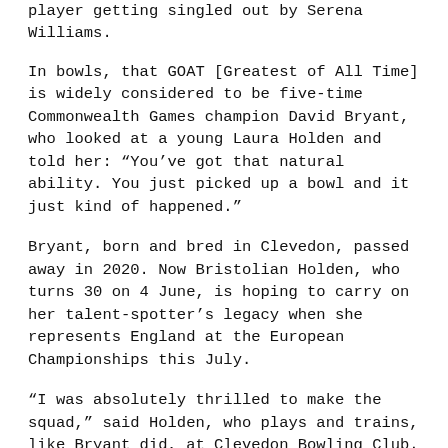player getting singled out by Serena Williams.
In bowls, that GOAT [Greatest of All Time] is widely considered to be five-time Commonwealth Games champion David Bryant, who looked at a young Laura Holden and told her: “You’ve got that natural ability. You just picked up a bowl and it just kind of happened.”
Bryant, born and bred in Clevedon, passed away in 2020. Now Bristolian Holden, who turns 30 on 4 June, is hoping to carry on her talent-spotter’s legacy when she represents England at the European Championships this July.
“I was absolutely thrilled to make the squad,” said Holden, who plays and trains, like Bryant did, at Clevedon Bowling Club.